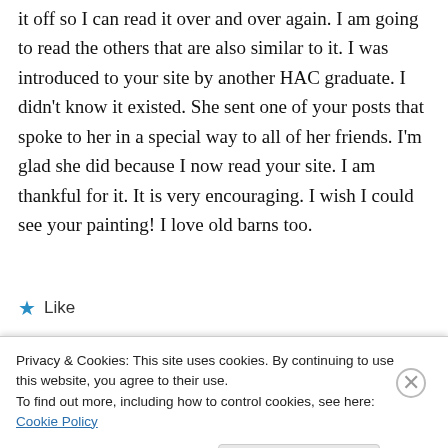it off so I can read it over and over again. I am going to read the others that are also similar to it. I was introduced to your site by another HAC graduate. I didn't know it existed. She sent one of your posts that spoke to her in a special way to all of her friends. I'm glad she did because I now read your site. I am thankful for it. It is very encouraging. I wish I could see your painting! I love old barns too.
★ Like
Privacy & Cookies: This site uses cookies. By continuing to use this website, you agree to their use.
To find out more, including how to control cookies, see here: Cookie Policy